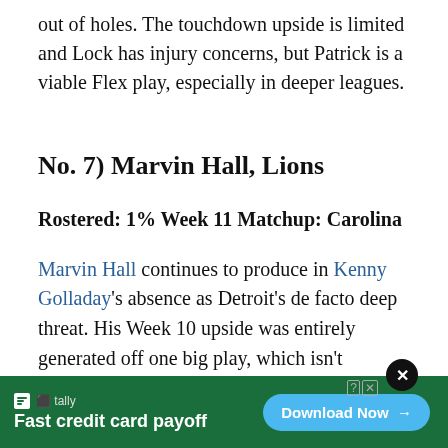out of holes. The touchdown upside is limited and Lock has injury concerns, but Patrick is a viable Flex play, especially in deeper leagues.
No. 7) Marvin Hall, Lions
Rostered: 1% Week 11 Matchup: Carolina
Marvin Hall continues to produce in Kenny Golladay's absence as Detroit's de facto deep threat. His Week 10 upside was entirely generated off one big play, which isn't promising for the long term, and Matthew Stafford is banged up a bit. Regardless, fantas… ve
[Figure (other): Advertisement banner: Tally - Fast credit card payoff, Download Now button, with close X button and help icons]